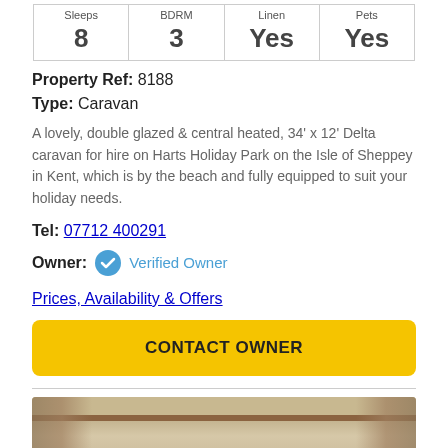| Sleeps | BDRM | Linen | Pets |
| --- | --- | --- | --- |
| 8 | 3 | Yes | Yes |
Property Ref: 8188
Type: Caravan
A lovely, double glazed & central heated, 34' x 12' Delta caravan for hire on Harts Holiday Park on the Isle of Sheppey in Kent, which is by the beach and fully equipped to suit your holiday needs.
Tel: 07712 400291
Owner: Verified Owner
Prices, Availability & Offers
CONTACT OWNER
[Figure (photo): Interior photo of a caravan showing ceiling, wooden curtain rail, and curtains]